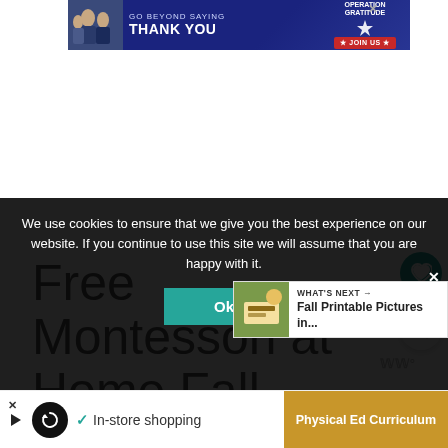[Figure (screenshot): Operation Gratitude advertisement banner: 'Go Beyond Saying Thank You' with military personnel photo and Join Us button]
Free Montessori at Home Fall
We use cookies to ensure that we give you the best experience on our website. If you continue to use this site we will assume that you are happy with it.
[Figure (screenshot): What's Next box showing Fall Printable Pictures in...]
In-store shopping
Physical Ed Curriculum